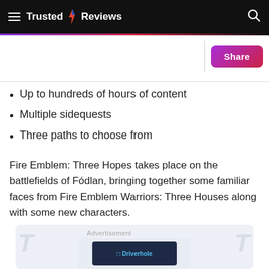Trusted Reviews
Up to hundreds of hours of content
Multiple sidequests
Three paths to choose from
Fire Emblem: Three Hopes takes place on the battlefields of Fódlan, bringing together some familiar faces from Fire Emblem Warriors: Three Houses along with some new characters.
[Figure (screenshot): Advertisement banner showing a software interface with dark navy background and blue logo text, surrounded by a light blue-grey container with watermark decorations on sides.]